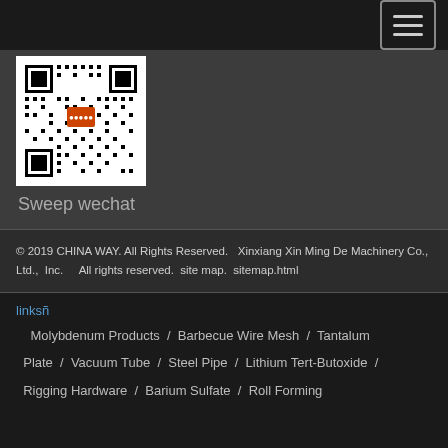[Figure (other): QR code image for WeChat sweep]
Sweep wechat
© 2019 CHINA WAY. All Rights Reserved.  Xinxiang Xin Ming De Machinery Co., Ltd.,  Inc.    All rights reserved.  site map.  sitemap.html
linksñ
Molybdenum Products  /  Barbecue Wire Mesh  /  Tantalum Plate  /  Vacuum Tube  /  Steel Pipe  /  Lithium Tert-Butoxide  /  Rigging Hardware  /  Barium Sulfate  /  Roll Forming